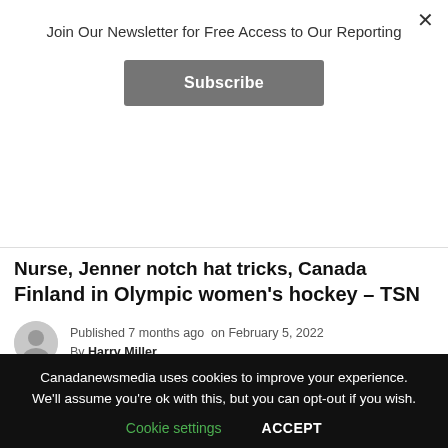Join Our Newsletter for Free Access to Our Reporting
Subscribe
Nurse, Jenner notch hat tricks, Canada defeats Finland in Olympic women's hockey – TSN
Published 7 months ago on February 5, 2022
By Harry Miller
[Figure (photo): Three Canadian women's hockey players wearing red jerseys and black helmets with face cages, celebrating on the ice. Jersey numbers 3 and 23 are visible.]
Canadanewsmedia uses cookies to improve your experience. We'll assume you're ok with this, but you can opt-out if you wish.
Cookie settings   ACCEPT